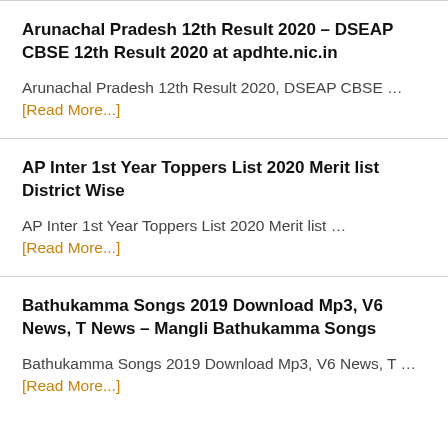Arunachal Pradesh 12th Result 2020 – DSEAP CBSE 12th Result 2020 at apdhte.nic.in
Arunachal Pradesh 12th Result 2020, DSEAP CBSE … [Read More...]
AP Inter 1st Year Toppers List 2020 Merit list District Wise
AP Inter 1st Year Toppers List 2020 Merit list … [Read More...]
Bathukamma Songs 2019 Download Mp3, V6 News, T News – Mangli Bathukamma Songs
Bathukamma Songs 2019 Download Mp3, V6 News, T … [Read More...]